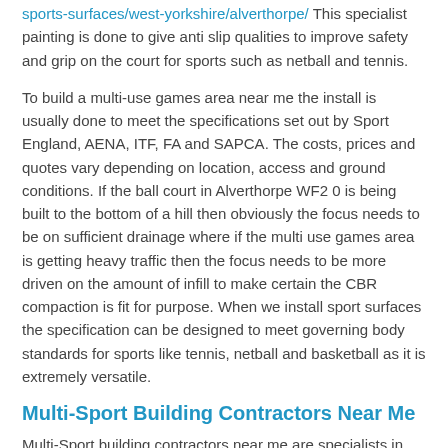sports-surfaces/west-yorkshire/alverthorpe/ This specialist painting is done to give anti slip qualities to improve safety and grip on the court for sports such as netball and tennis.
To build a multi-use games area near me the install is usually done to meet the specifications set out by Sport England, AENA, ITF, FA and SAPCA. The costs, prices and quotes vary depending on location, access and ground conditions. If the ball court in Alverthorpe WF2 0 is being built to the bottom of a hill then obviously the focus needs to be on sufficient drainage where if the multi use games area is getting heavy traffic then the focus needs to be more driven on the amount of infill to make certain the CBR compaction is fit for purpose. When we install sport surfaces the specification can be designed to meet governing body standards for sports like tennis, netball and basketball as it is extremely versatile.
Multi-Sport Building Contractors Near Me
Multi-Sport building contractors near me are specialists in the field of MUGAs and multiple use games areas so please make sure that you check the existing company out to make sure they are